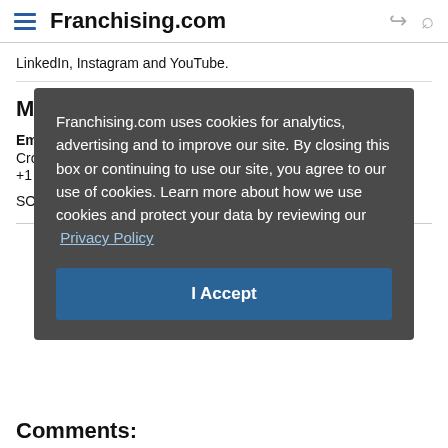Franchising.com
LinkedIn, Instagram and YouTube.
Media Contact:
Emily
Crow
+1 90
SOU
[Figure (screenshot): Cookie consent overlay on Franchising.com with message: 'Franchising.com uses cookies for analytics, advertising and to improve our site. By closing this box or continuing to use our site, you agree to our use of cookies. Learn more about how we use cookies and protect your data by reviewing our Privacy Policy' and an 'I Accept' button.]
Comments: